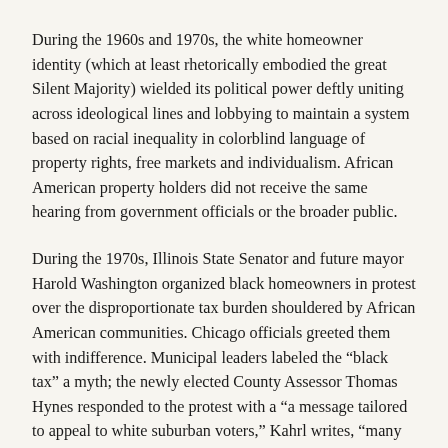During the 1960s and 1970s, the white homeowner identity (which at least rhetorically embodied the great Silent Majority) wielded its political power deftly uniting across ideological lines and lobbying to maintain a system based on racial inequality in colorblind language of property rights, free markets and individualism. African American property holders did not receive the same hearing from government officials or the broader public.
During the 1970s, Illinois State Senator and future mayor Harold Washington organized black homeowners in protest over the disproportionate tax burden shouldered by African American communities. Chicago officials greeted them with indifference. Municipal leaders labeled the “black tax” a myth; the newly elected County Assessor Thomas Hynes responded to the protest with a “a message tailored to appeal to white suburban voters,” Kahrl writes, “many of whom viewed urban minorities strictly as tax recipients (not taxpayers), scoffed at claims of institutional